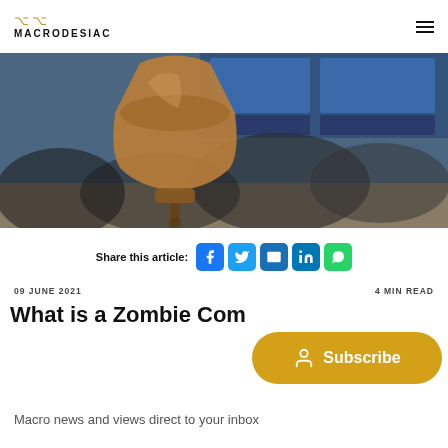MACRODESIAC
[Figure (photo): A large bronze/gold trading bell in the foreground with blurred stock exchange traders networking in the background, blue trading screens visible.]
Share this article:
09 JUNE 2021    4 MIN READ
What is a Zombie Com...
Macro news and views direct to your inbox